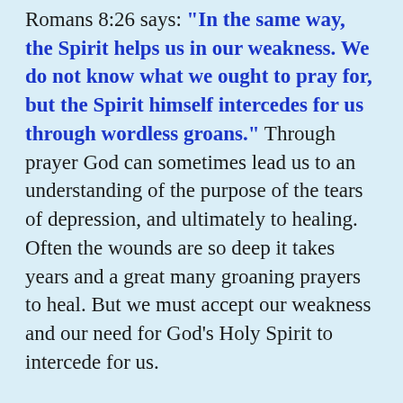Romans 8:26 says: "In the same way, the Spirit helps us in our weakness. We do not know what we ought to pray for, but the Spirit himself intercedes for us through wordless groans." Through prayer God can sometimes lead us to an understanding of the purpose of the tears of depression, and ultimately to healing. Often the wounds are so deep it takes years and a great many groaning prayers to heal. But we must accept our weakness and our need for God's Holy Spirit to intercede for us.
For me, after much prayer of my own, the blessed prayers of others, and the intercession of the Holy Spirit, God led me to an understanding of the purpose of my tears. They were tears of anger and unforgiveness; they